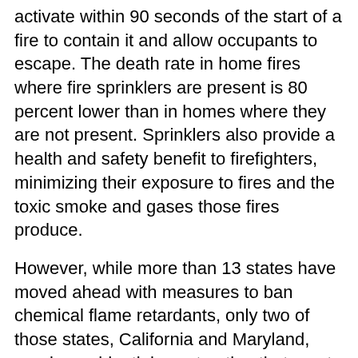activate within 90 seconds of the start of a fire to contain it and allow occupants to escape. The death rate in home fires where fire sprinklers are present is 80 percent lower than in homes where they are not present. Sprinklers also provide a health and safety benefit to firefighters, minimizing their exposure to fires and the toxic smoke and gases those fires produce.
However, while more than 13 states have moved ahead with measures to ban chemical flame retardants, only two of those states, California and Maryland, require residential construction that meets current standards that include fire sprinklers. Nowhere else do statewide directives exist to follow the sprinkler requirement, meaning that the vast majority of the country's new single-family homes are